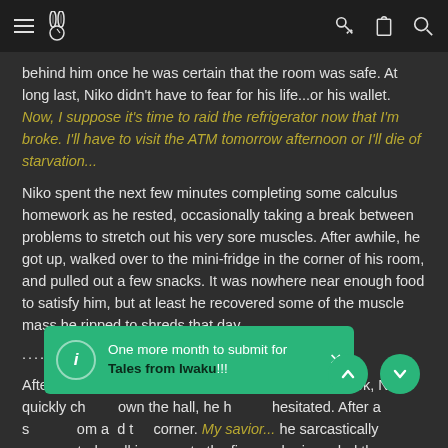≡ [logo] [key-icon] [clipboard-icon] [search-icon]
behind him once he was certain that the room was safe. At long last, Niko didn't have to fear for his life...or his wallet. Now, I suppose it's time to raid the refrigerator now that I'm broke. I'll have to visit the ATM tomorrow afternoon or I'll die of starvation...
Niko spent the next few minutes completing some calculus homework as he rested, occasionally taking a break between problems to stretch out his very sore muscles. After awhile, he got up, walked over to the mini-fridge in the corner of his room, and pulled out a few snacks. It was nowhere near enough food to satisfy him, but at least he recovered some of the muscle mass he ripped to shreds that day.
.....
After completing the last of his homework for the week, Niko quickly ch[...]own the hall, he he[...]hesitated. After a se[...]om a[...]d t[...] corner. My savior... he sarcastically commented, walking over to the figure who impeded the progress of the beast in the library earlier
One more month to submit for Tales from Iwaku!!!